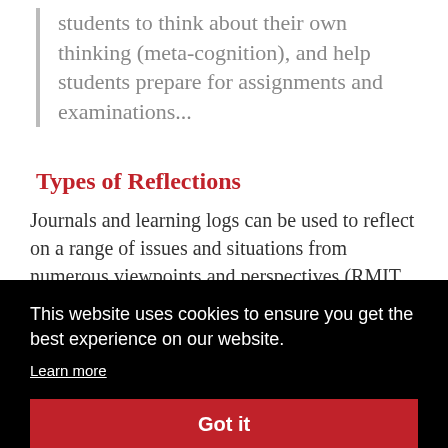students to think about their own thinking (meta-cognition), and help students prepare for assignments and examinations...
Types of Reflections
Journals and learning logs can be used to reflect on a range of issues and situations from numerous viewpoints and perspectives (RMIT
[Figure (screenshot): Cookie consent popup overlay with black background. Contains text: 'This website uses cookies to ensure you get the best experience on our website.' with a 'Learn more' link and a red 'Got it' button.]
particular event. For example, At the pre-game